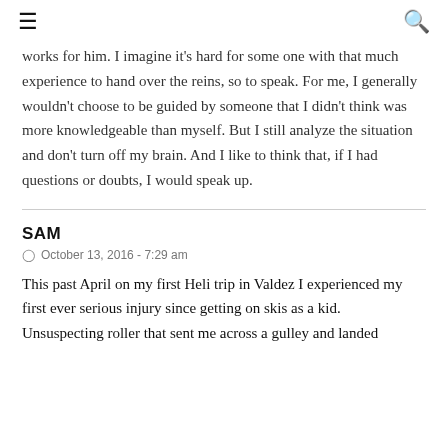≡  🔍
works for him. I imagine it's hard for some one with that much experience to hand over the reins, so to speak. For me, I generally wouldn't choose to be guided by someone that I didn't think was more knowledgeable than myself. But I still analyze the situation and don't turn off my brain. And I like to think that, if I had questions or doubts, I would speak up.
SAM
October 13, 2016 - 7:29 am
This past April on my first Heli trip in Valdez I experienced my first ever serious injury since getting on skis as a kid. Unsuspecting roller that sent me across a gulley and landed